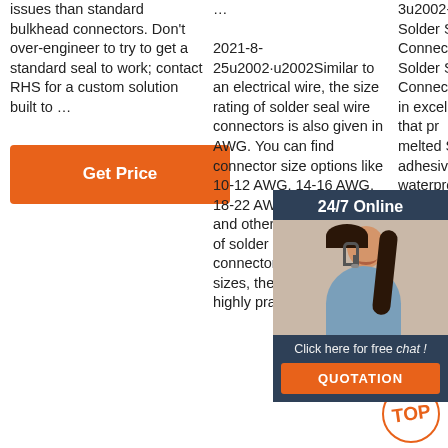issues than standard bulkhead connectors. Don't over-engineer to try to get a standard seal to work; contact RHS for a custom solution built to …
[Figure (other): Orange 'Get Price' button]
… 2021-8-25u2002·u2002Similar to an electrical wire, the size rating of solder seal wire connectors is also given in AWG. You can find connector size options like 10-12 AWG, 14-16 AWG, 18-22 AWG, 24-26 AWG, and others. If a given pack of solder seal wire connectors offers multiple sizes, then it is going to be highly practical
3u2002-u20024. Kuject Solder Seal Wire Connectors. The Kuject Solder Seal Wire Connectors always comes in excellent marine-grade materials, has a structure that provides reliable connection melted Simultaneously, the hot melt adhesive will give a waterproof finish and is the reason for its marine-grade rating.
[Figure (other): 24/7 Online chat widget with customer service representative photo, 'Click here for free chat!' text, and orange QUOTATION button]
[Figure (other): Orange circular TOP badge with decorative dots]